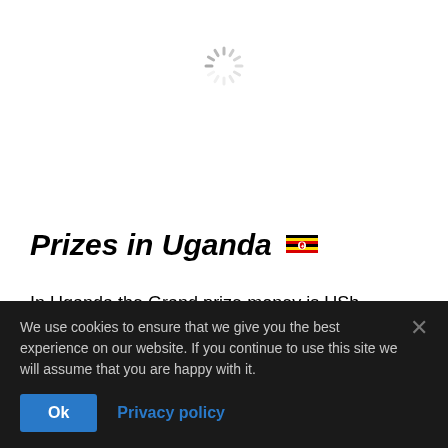[Figure (other): Loading spinner (circular dashed spinner icon) centered near top of page]
Prizes in Uganda 🇺🇬
In Uganda the Grand prize money is USh 5,000,000 in cash. Furthermore there is the opportunity in this betting game to win USh 500,000 in cash every single match day. Don't miss the opportunity to win big with Betway in Uganda!
We use cookies to ensure that we give you the best experience on our website. If you continue to use this site we will assume that you are happy with it.
Ok  Privacy policy